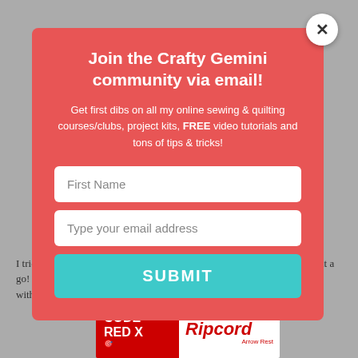Join the Crafty Gemini community via email!
Get first dibs on all my online sewing & quilting courses/clubs, project kits, FREE video tutorials and tons of tips & tricks!
First Name
Type your email address
SUBMIT
I tried to keep this project simple in order to encourage beginners to give it a go!  There are tons of ways to make a top like this, that is a classic with
[Figure (screenshot): Advertisement banner: CODE RED X with Ripcord Arrow Rest ad]